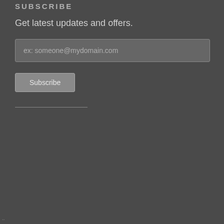SUBSCRIBE
Get latest updates and offers.
ex: someone@mydomain.com
Subscribe
..